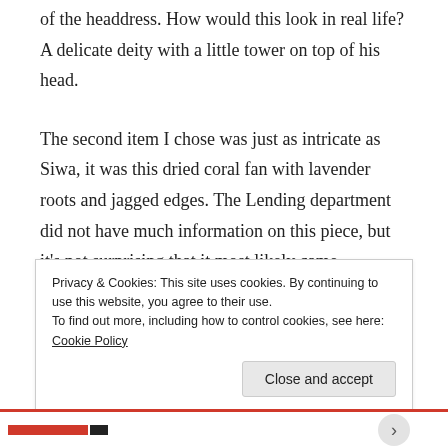of the headdress. How would this look in real life? A delicate deity with a little tower on top of his head.
The second item I chose was just as intricate as Siwa, it was this dried coral fan with lavender roots and jagged edges. The Lending department did not have much information on this piece, but it's not surprising that it most likely came
Privacy & Cookies: This site uses cookies. By continuing to use this website, you agree to their use.
To find out more, including how to control cookies, see here: Cookie Policy
Close and accept